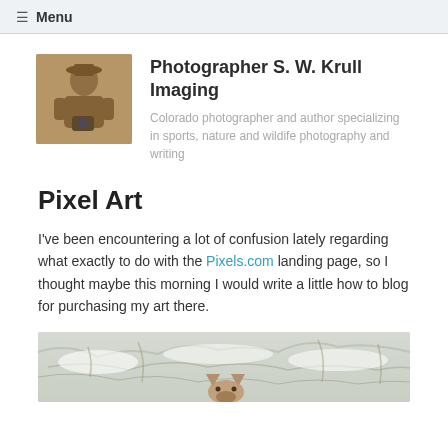≡ Menu
Photographer S. W. Krull Imaging
Colorado photographer and author specializing in sports, nature and wildife photography and writing
Pixel Art
I've been encountering a lot of confusion lately regarding what exactly to do with the Pixels.com landing page, so I thought maybe this morning I would write a little how to blog for purchasing my art there.
[Figure (photo): A wildlife photo showing a deer or small animal partially visible through snow-covered frost and branches, viewed from above.]